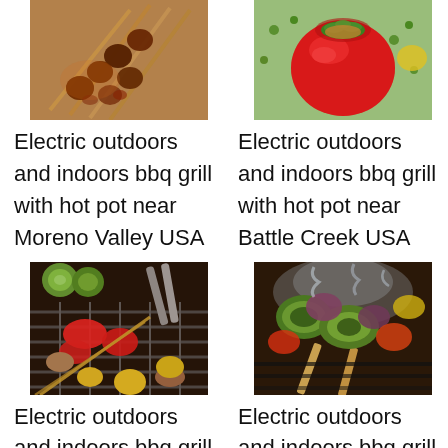[Figure (photo): Meat skewers/kebabs on sticks with glossy sauce]
Electric outdoors and indoors bbq grill with hot pot near Moreno Valley USA
[Figure (photo): Red stuffed tomato with green herb garnish]
Electric outdoors and indoors bbq grill with hot pot near Battle Creek USA
[Figure (photo): Vegetables and skewers on a round grill with tongs]
Electric outdoors and indoors bbq grill with hot pot near
[Figure (photo): Zucchini and vegetable skewers with smoke]
Electric outdoors and indoors bbq grill with hot pot near